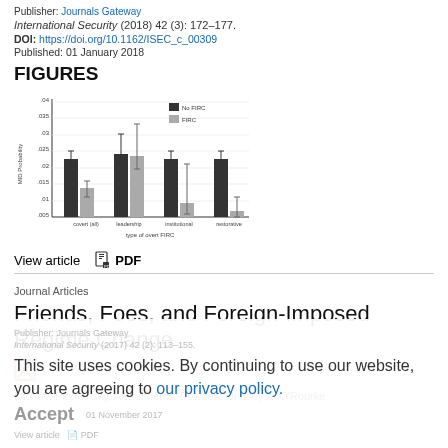Publisher: Journals Gateway
International Security (2018) 42 (3): 172–177.
DOI: https://doi.org/10.1162/ISEC_c_00309
Published: 01 January 2018
FIGURES
[Figure (grouped-bar-chart): Type of overt FIRC]
View article   PDF
Journal Articles
Friends, Foes, and Foreign-Imposed Regime Change
Michael Poznansky, Alexander B. Downes, Lindsey A. O'Rourke
This site uses cookies. By continuing to use our website, you are agreeing to our privacy policy. Accept